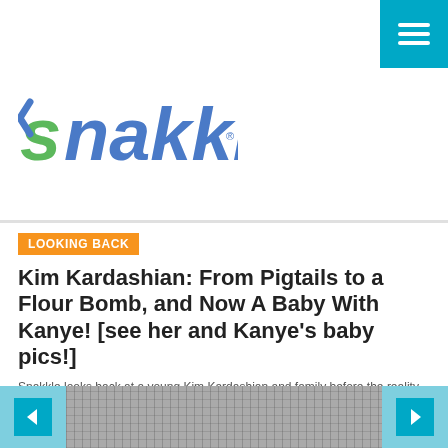[Figure (other): Cyan hamburger menu button in top-right corner]
[Figure (logo): Snakkle logo — stylized blue and green text with arrow motif]
LOOKING BACK
Kim Kardashian: From Pigtails to a Flour Bomb, and Now A Baby With Kanye! [see her and Kanye's baby pics!]
Snakkle looks back at a young Kim Kardashian and family before the reality shows, wedding drama, and flour bomb and baby news!
By ERIN FOX
[Figure (photo): Grayscale photo strip of Kim Kardashian with navigation arrows on left and right]